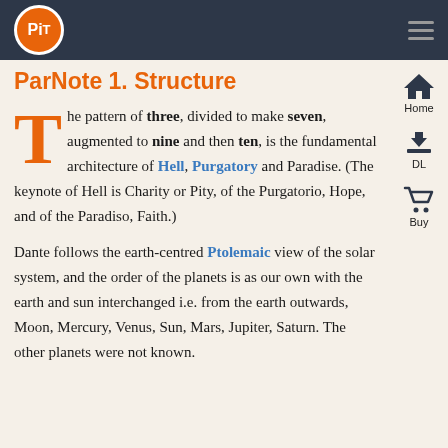PiT [logo] — navigation bar with hamburger menu
ParNote 1. Structure
The pattern of three, divided to make seven, augmented to nine and then ten, is the fundamental architecture of Hell, Purgatory and Paradise. (The keynote of Hell is Charity or Pity, of the Purgatorio, Hope, and of the Paradiso, Faith.)
Dante follows the earth-centred Ptolemaic view of the solar system, and the order of the planets is as our own with the earth and sun interchanged i.e. from the earth outwards, Moon, Mercury, Venus, Sun, Mars, Jupiter, Saturn. The other planets were not known.